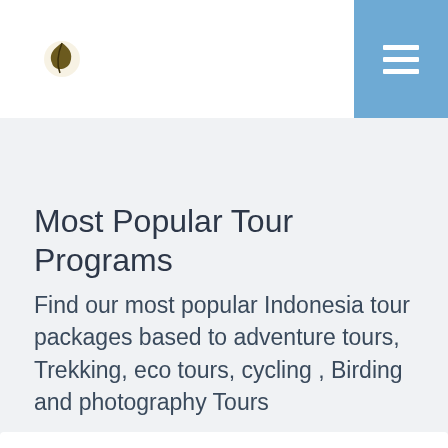Most Popular Tour Programs
Find our most popular Indonesia tour packages based to adventure tours, Trekking, eco tours, cycling , Birding and photography Tours